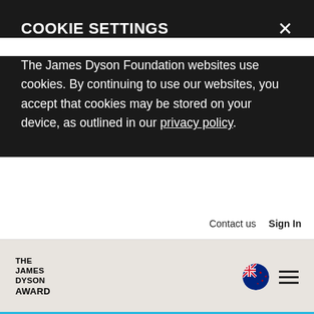COOKIE SETTINGS
The James Dyson Foundation websites use cookies. By continuing to use our websites, you accept that cookies may be stored on your device, as outlined in our privacy policy.
Contact us   Sign In
[Figure (logo): The James Dyson Award logo with stacked text: THE JAMES DYSON AWARD]
[Figure (illustration): New Zealand flag circle icon and hamburger menu icon]
JAMES DYSON AWARD